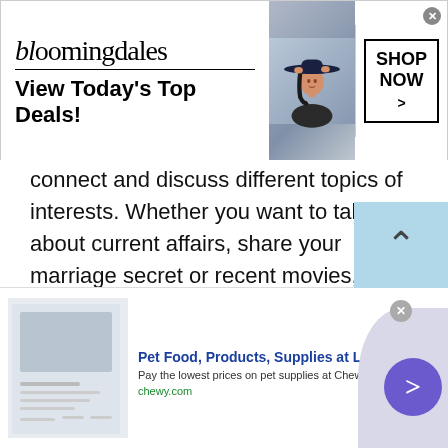[Figure (screenshot): Bloomingdales advertisement banner: logo text 'bloomingdales', tagline 'View Today's Top Deals!', fashion photo of woman in hat, SHOP NOW > button]
connect and discuss different topics of interests. Whether you want to talk about current affairs, share your marriage secret or recent movies, people from different countries are ready to listen to you. If you think people will make fun of you then nothing is like that. Talkwithstranger strict chat rules make this platform a secure place to talk to random people.
Talk to strangers in Guadeloupe, Canada, America,
[Figure (screenshot): Chewy.com advertisement: 'Pet Food, Products, Supplies at Low Prices - Pay the lowest prices on pet supplies at Chewy.com' with navigation arrow button]